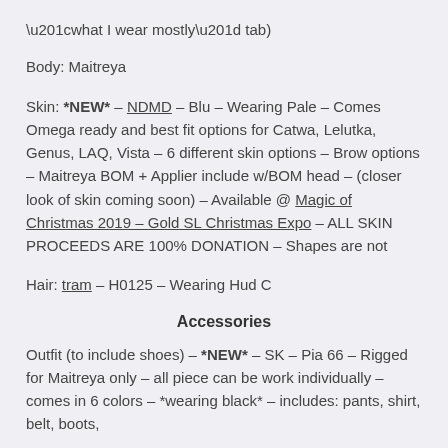“what I wear mostly” tab)
Body: Maitreya
Skin: *NEW* – NDMD – Blu – Wearing Pale – Comes Omega ready and best fit options for Catwa, Lelutka, Genus, LAQ, Vista – 6 different skin options – Brow options – Maitreya BOM + Applier include w/BOM head – (closer look of skin coming soon) – Available @ Magic of Christmas 2019 – Gold SL Christmas Expo – ALL SKIN PROCEEDS ARE 100% DONATION – Shapes are not
Hair: tram – H0125 – Wearing Hud C
Accessories
Outfit (to include shoes) – *NEW* – SK – Pia 66 – Rigged for Maitreya only – all piece can be work individually – comes in 6 colors – *wearing black* – includes: pants, shirt, belt, boots,